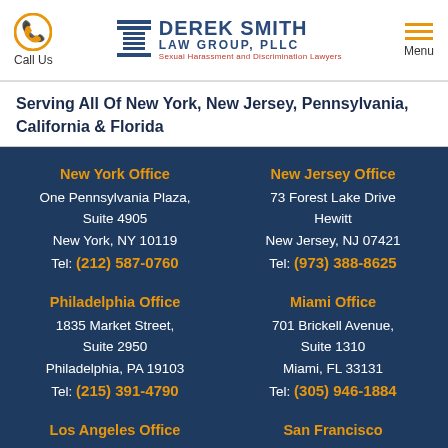Call Us | Derek Smith Law Group, PLLC — Sexual Harassment and Discrimination Lawyers | Menu
Serving All Of New York, New Jersey, Pennsylvania, California & Florida
New York Office
One Pennsylvania Plaza, Suite 4905
New York, NY 10119
Tel: (212) 587-0760
New Jersey Office
73 Forest Lake Drive
Hewitt
New Jersey, NJ 07421
Tel: (973) 388-8625
Philadelphia Office
1835 Market Street, Suite 2950
Philadelphia, PA 19103
Tel: (215) 391-4790
Miami Office
701 Brickell Avenue, Suite 1310
Miami, FL 33131
Tel: (305) 946-1884
Los Angeles Office
San Francisco